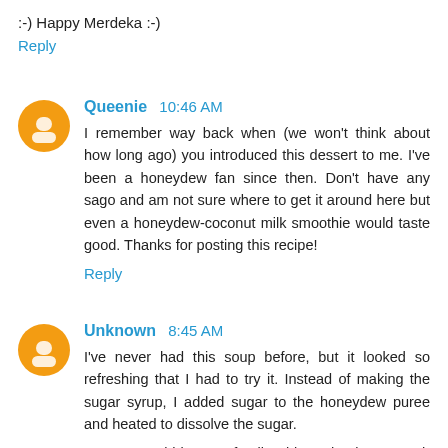:-) Happy Merdeka :-)
Reply
Queenie  10:46 AM
I remember way back when (we won't think about how long ago) you introduced this dessert to me. I've been a honeydew fan since then. Don't have any sago and am not sure where to get it around here but even a honeydew-coconut milk smoothie would taste good. Thanks for posting this recipe!
Reply
Unknown  8:45 AM
I've never had this soup before, but it looked so refreshing that I had to try it. Instead of making the sugar syrup, I added sugar to the honeydew puree and heated to dissolve the sugar.
It was a total hit at my family's bbq... thanks so much for the